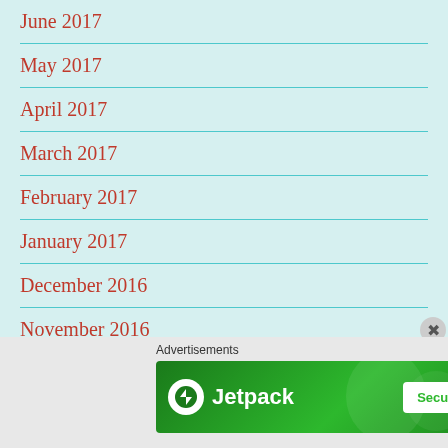June 2017
May 2017
April 2017
March 2017
February 2017
January 2017
December 2016
November 2016
[Figure (screenshot): Jetpack advertisement banner with green background, Jetpack logo on left, and 'Secure Your Site' button on right. Above: 'Advertisements' label.]